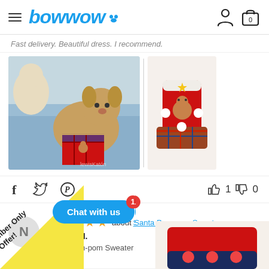bowwow
Fast delivery. Beautiful dress. I recommend.
[Figure (photo): Dog wearing red Christmas gingerbread dress on blue bed]
[Figure (photo): Red Christmas gingerbread dog dress product photo on white background]
1  0
about Santa Pom-pom Sweater
Norbert H.
Santa Pom-pom Sweater
Chat with us
Member Only Offer!